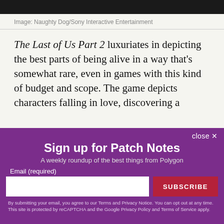[Figure (photo): Dark image bar at top of page, appears to be a game screenshot from The Last of Us Part 2]
Image: Naughty Dog/Sony Interactive Entertainment
The Last of Us Part 2 luxuriates in depicting the best parts of being alive in a way that's somewhat rare, even in games with this kind of budget and scope. The game depicts characters falling in love, discovering a
Sign up for Patch Notes
A weekly roundup of the best things from Polygon
Email (required)
SUBSCRIBE
By submitting your email, you agree to our Terms and Privacy Notice. You can opt out at any time. This site is protected by reCAPTCHA and the Google Privacy Policy and Terms of Service apply.